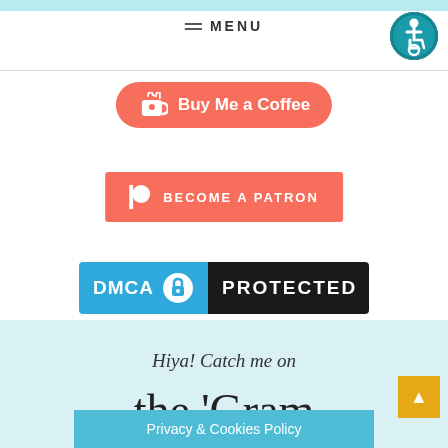MENU
[Figure (logo): Accessibility icon - person in wheelchair in teal circle]
[Figure (logo): Buy Me a Coffee button - coral/salmon rounded button with coffee cup icon]
[Figure (logo): Become a Patron button - coral/salmon rectangular button with Patreon icon]
[Figure (logo): DMCA Protected badge - blue left half with DMCA text, dark right half with PROTECTED text and lock icon]
Hiya! Catch me on
the 'Gram
Privacy & Cookies Policy